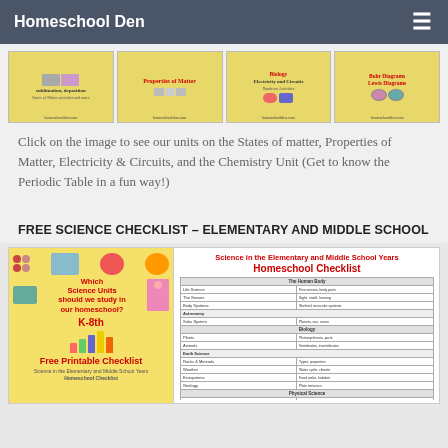Homeschool Den
[Figure (screenshot): Four educational science unit thumbnails with yellow backgrounds showing: States of Matter/sublimation/deposition, Properties of Matter, Electricity and Circuits (Biology), and Bohr Diagrams/Lewis Diagrams. All from homeschoolden.com]
Click on the image to see our units on the States of matter, Properties of Matter, Electricity & Circuits, and the Chemistry Unit (Get to know the Periodic Table in a fun way!)
FREE SCIENCE CHECKLIST – ELEMENTARY AND MIDDLE SCHOOL
[Figure (screenshot): Two images side by side: left shows a colorful checklist cover with science icons and text 'Which Science Units should we study in our homeschool? K-8th Free Printable Checklist' on yellow background; right shows the actual Homeschool Checklist document titled 'Science in the Elementary and Middle School Years Homeschool Checklist' with a table listing Human Body and Biology science topics]